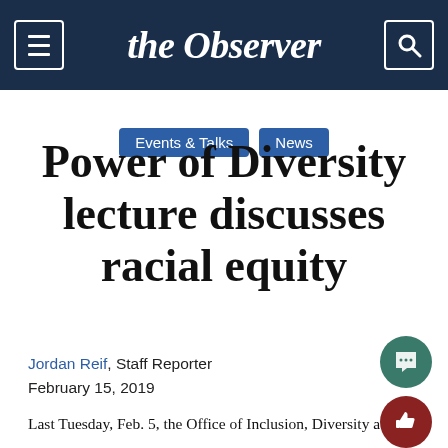the Observer
Events & Talks
News
Power of Diversity lecture discusses racial equity
Jordan Reif, Staff Reporter
February 15, 2019
Last Tuesday, Feb. 5, the Office of Inclusion, Diversity a…